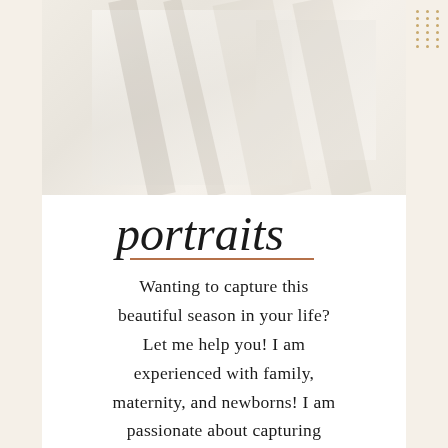MENU
[Figure (photo): Faded light-toned background photo, abstract/soft focus wedding or portrait style image]
portraits
Wanting to capture this beautiful season in your life? Let me help you! I am experienced with family, maternity, and newborns! I am passionate about capturing these important memories in your life so that you can